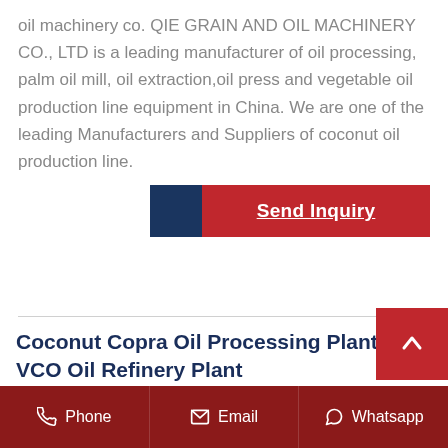oil machinery co. QIE GRAIN AND OIL MACHINERY CO., LTD is a leading manufacturer of oil processing, palm oil mill, oil extraction,oil press and vegetable oil production line equipment in China. We are one of the leading Manufacturers and Suppliers of coconut oil production line.
[Figure (other): Send Inquiry button with blue left accent and red main area]
Coconut Copra Oil Processing Plant VCO Oil Refinery Plant
Copra Cake is a byproduct from cocon
Phone  Email  Whatsapp